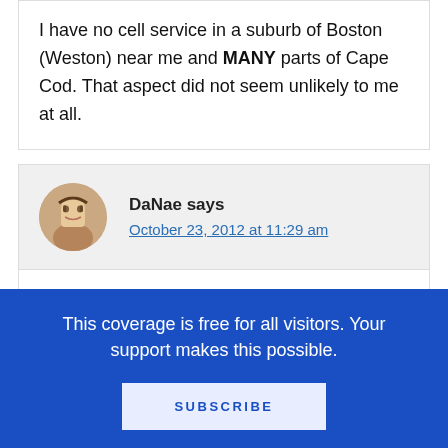I have no cell service in a suburb of Boston (Weston) near me and MANY parts of Cape Cod. That aspect did not seem unlikely to me at all.
DaNae says
October 23, 2012 at 11:29 am
I hearing something here from Nina, Wendy, and even Johnathan that I had never taken into consideration in conjunction with the definition of distinguished. That it is connected with
This coverage is free for all visitors. Your support makes this possible.
SUBSCRIBE